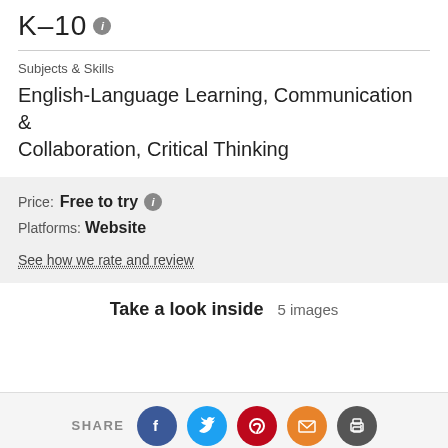K–10
Subjects & Skills
English-Language Learning, Communication & Collaboration, Critical Thinking
Price:  Free to try
Platforms:  Website
See how we rate and review
Take a look inside  5 images
SHARE